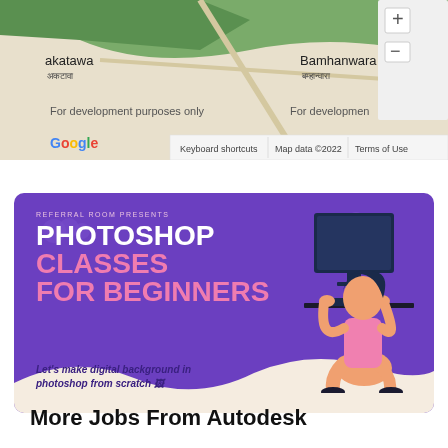[Figure (map): Google Maps screenshot showing area with labels 'akatawa', 'Bamhanwara', text 'For development purposes only', Google logo, and map controls. Attribution: Keyboard shortcuts, Map data ©2022, Terms of Use.]
[Figure (infographic): Purple banner for 'Referral Room Presents: Photoshop Classes For Beginners' with subtitle 'Let's make digital background in photoshop from scratch', featuring illustration of a person sitting and working on a desktop computer.]
More Jobs From Autodesk